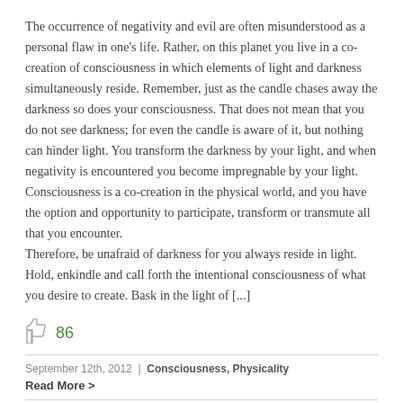The occurrence of negativity and evil are often misunderstood as a personal flaw in one's life. Rather, on this planet you live in a co-creation of consciousness in which elements of light and darkness simultaneously reside. Remember, just as the candle chases away the darkness so does your consciousness. That does not mean that you do not see darkness; for even the candle is aware of it, but nothing can hinder light. You transform the darkness by your light, and when negativity is encountered you become impregnable by your light. Consciousness is a co-creation in the physical world, and you have the option and opportunity to participate, transform or transmute all that you encounter.
Therefore, be unafraid of darkness for you always reside in light. Hold, enkindle and call forth the intentional consciousness of what you desire to create. Bask in the light of [...]
[Figure (other): Thumbs up like icon in gray]
86
September 12th, 2012 | Consciousness, Physicality
Read More >